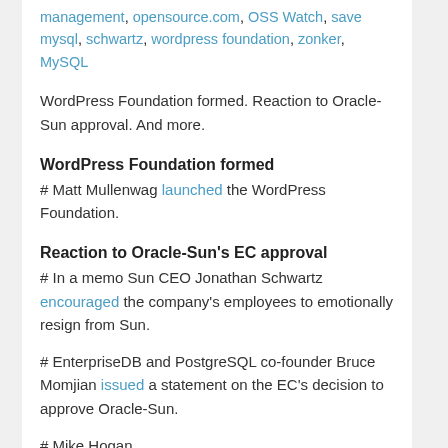management, opensource.com, OSS Watch, save mysql, schwartz, wordpress foundation, zonker, MySQL
WordPress Foundation formed. Reaction to Oracle-Sun approval. And more.
WordPress Foundation formed
# Matt Mullenwag launched the WordPress Foundation.
Reaction to Oracle-Sun's EC approval
# In a memo Sun CEO Jonathan Schwartz encouraged the company's employees to emotionally resign from Sun.
# EnterpriseDB and PostgreSQL co-founder Bruce Momjian issued a statement on the EC's decision to approve Oracle-Sun.
# Mike Hogan …
[Read more]